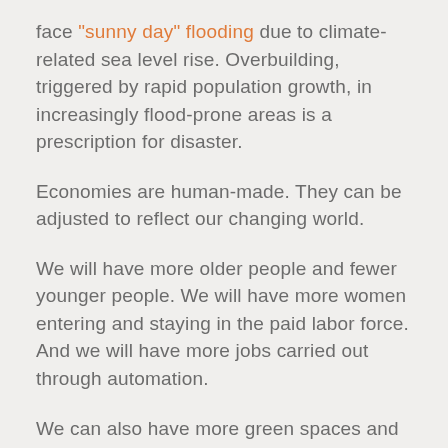face "sunny day" flooding due to climate-related sea level rise. Overbuilding, triggered by rapid population growth, in increasingly flood-prone areas is a prescription for disaster.
Economies are human-made. They can be adjusted to reflect our changing world.
We will have more older people and fewer younger people. We will have more women entering and staying in the paid labor force. And we will have more jobs carried out through automation.
We can also have more green spaces and wildlife habitats, more investment in each